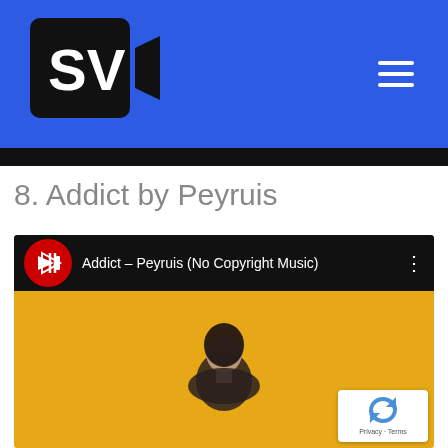[Figure (logo): SV logo with camera icon on blue background header with hamburger menu]
8. Addict by Peyruis
[Figure (screenshot): YouTube embedded video titled 'Addict – Peyruis (No Copyright Music)' with red circular channel icon and yellow thumbnail showing a person looking up, with a reCAPTCHA badge in bottom right corner]